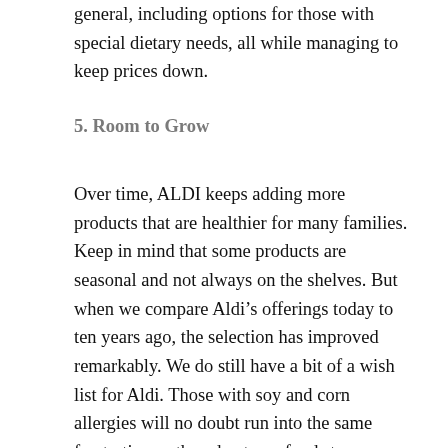general, including options for those with special dietary needs, all while managing to keep prices down.
5. Room to Grow
Over time, ALDI keeps adding more products that are healthier for many families. Keep in mind that some products are seasonal and not always on the shelves. But when we compare Aldi’s offerings today to ten years ago, the selection has improved remarkably. We do still have a bit of a wish list for Aldi. Those with soy and corn allergies will no doubt run into the same frustration as they do at any food store because these ingredients are so prolific. We hope that one day, they’ll offer packages of tuna without soybean oil. That said, we can still come home with the bulk of our groceries and our wallets still happy.